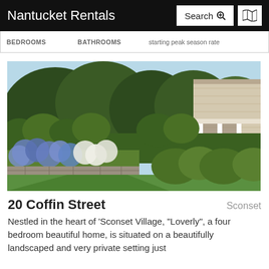Nantucket Rentals
| BEDROOMS | BATHROOMS | starting peak season rate |
| --- | --- | --- |
[Figure (photo): Exterior view of a Nantucket home with lush green lawn, blue and white hydrangea garden beds with stone retaining wall, tall green hedges, and a white-columned covered porch of a shingled house in background]
20 Coffin Street
Sconset
Nestled in the heart of 'Sconset Village, "Loverly", a four bedroom beautiful home, is situated on a beautifully landscaped and very private setting just